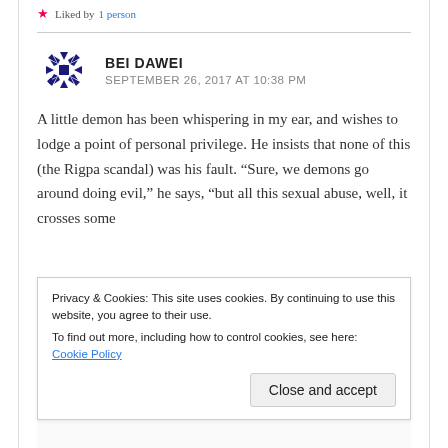Liked by 1 person
BEI DAWEI
SEPTEMBER 26, 2017 AT 10:38 PM
A little demon has been whispering in my ear, and wishes to lodge a point of personal privilege. He insists that none of this (the Rigpa scandal) was his fault. “Sure, we demons go around doing evil,” he says, “but all this sexual abuse, well, it crosses some
Privacy & Cookies: This site uses cookies. By continuing to use this website, you agree to their use.
To find out more, including how to control cookies, see here: Cookie Policy
Close and accept